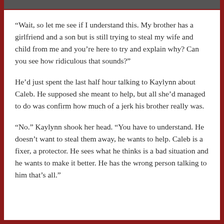[Figure (photo): Partial image strip at top of page showing cropped photo]
“Wait, so let me see if I understand this. My brother has a girlfriend and a son but is still trying to steal my wife and child from me and you’re here to try and explain why? Can you see how ridiculous that sounds?”
He’d just spent the last half hour talking to Kaylynn about Caleb. He supposed she meant to help, but all she’d managed to do was confirm how much of a jerk his brother really was.
“No.” Kaylynn shook her head. “You have to understand. He doesn’t want to steal them away, he wants to help. Caleb is a fixer, a protector. He sees what he thinks is a bad situation and he wants to make it better. He has the wrong person talking to him that’s all.”